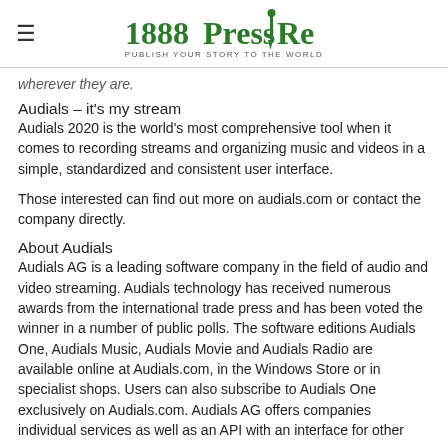1888 Press Release — PUBLISH YOUR STORY TO THE WORLD
wherever they are.
Audials – it's my stream
Audials 2020 is the world's most comprehensive tool when it comes to recording streams and organizing music and videos in a simple, standardized and consistent user interface.
Those interested can find out more on audials.com or contact the company directly.
About Audials
Audials AG is a leading software company in the field of audio and video streaming. Audials technology has received numerous awards from the international trade press and has been voted the winner in a number of public polls. The software editions Audials One, Audials Music, Audials Movie and Audials Radio are available online at Audials.com, in the Windows Store or in specialist shops. Users can also subscribe to Audials One exclusively on Audials.com. Audials AG offers companies individual services as well as an API with an interface for other